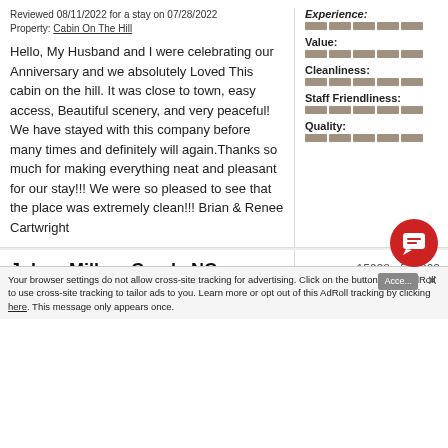Reviewed 08/11/2022 for a stay on 07/28/2022
Property: Cabin On The Hill
Hello, My Husband and I were celebrating our Anniversary and we absolutely Loved This cabin on the hill. It was close to town, easy access, Beautiful scenery, and very peaceful! We have stayed with this company before many times and definitely will again.Thanks so much for making everything neat and pleasant for our stay!!! We were so pleased to see that the place was extremely clean!!! Brian & Renee Cartwright
Experience:
[Figure (infographic): 5-segment rating bar for Experience, all segments filled]
Value:
[Figure (infographic): 5-segment rating bar for Value, all segments filled]
Cleanliness:
[Figure (infographic): 5-segment rating bar for Cleanliness, all segments filled]
Staff Friendliness:
[Figure (infographic): 5-segment rating bar for Staff Friendliness, all segments filled]
Quality:
[Figure (infographic): 5-segment rating bar for Quality, all segments filled]
15928 of 15993
John - Millers Creek, NC
[Figure (infographic): Star rating: approximately 4 out of 5 stars]
Experience:
Your browser settings do not allow cross-site tracking for advertising. Click on the button below AdRoll to use cross-site tracking to tailor ads to you. Learn more or opt out of this AdRoll tracking by clicking here. This message only appears once.